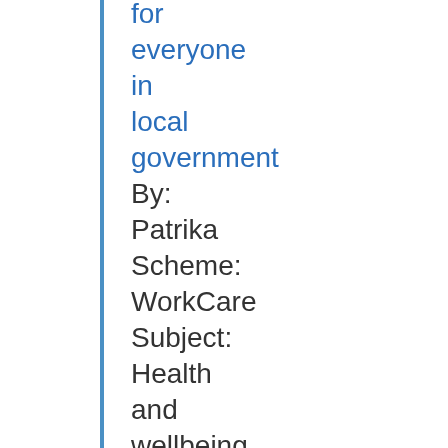for
everyone
in
local
government
By:
Patrika
Scheme:
WorkCare
Subject:
Health
and
wellbeing
Full
Story
25
July
2022
UPDATED: